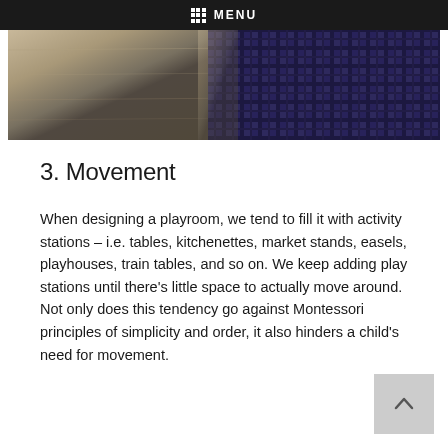MENU
[Figure (photo): Partial photo showing a wooden surface with a patterned rug or fabric with dark geometric designs]
3. Movement
When designing a playroom, we tend to fill it with activity stations – i.e. tables, kitchenettes, market stands, easels, playhouses, train tables, and so on. We keep adding play stations until there's little space to actually move around. Not only does this tendency go against Montessori principles of simplicity and order, it also hinders a child's need for movement.